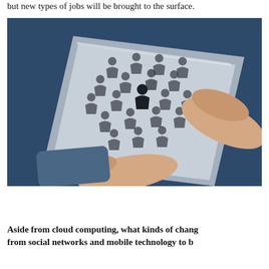but new types of jobs will be brought to the surface.
[Figure (photo): Hands holding a transparent glass tablet with multiple person/user icons displayed on it, with one finger pointing at a selected dark icon. The tablet is angled and held against a dark blue background.]
Aside from cloud computing, what kinds of changes from social networks and mobile technology to b